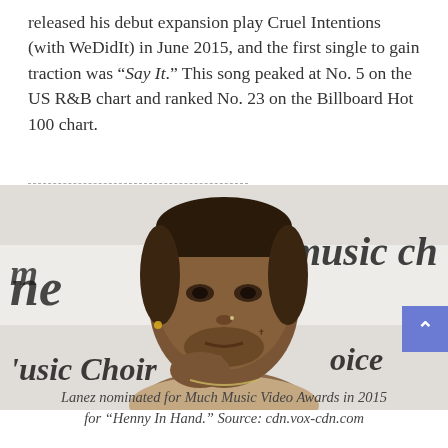released his debut expansion play Cruel Intentions (with WeDidIt) in June 2015, and the first single to gain traction was "Say It." This song peaked at No. 5 on the US R&B chart and ranked No. 23 on the Billboard Hot 100 chart.
[Figure (photo): Close-up photo of Tory Lanez at a Music Choice event, looking thoughtful with his hand near his chin, wearing a beige jacket. Music Choice branding visible in background.]
Lanez nominated for Much Music Video Awards in 2015 for "Henny In Hand." Source: cdn.vox-cdn.com